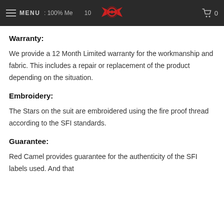MENU | [logo] | 0
Warranty:
We provide a 12 Month Limited warranty for the workmanship and fabric. This includes a repair or replacement of the product depending on the situation.
Embroidery:
The Stars on the suit are embroidered using the fire proof thread according to the SFI standards.
Guarantee:
Red Camel provides guarantee for the authenticity of the SFI labels used. And that